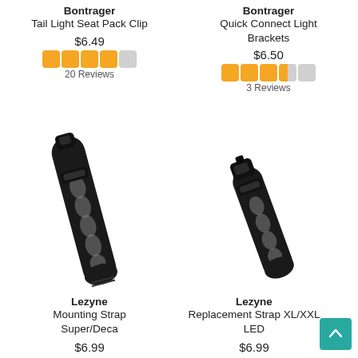Bontrager
Tail Light Seat Pack Clip
$6.49
20 Reviews
Bontrager
Quick Connect Light Brackets
$6.50
3 Reviews
[Figure (photo): Bontrager Tail Light Seat Pack Clip - black elongated rubber strap with oval holes]
[Figure (photo): Bontrager Quick Connect Light Brackets - black compact bracket with oval holes]
Lezyne
Mounting Strap Super/Deca
$6.99
Lezyne
Replacement Strap XL/XXL LED
$6.99